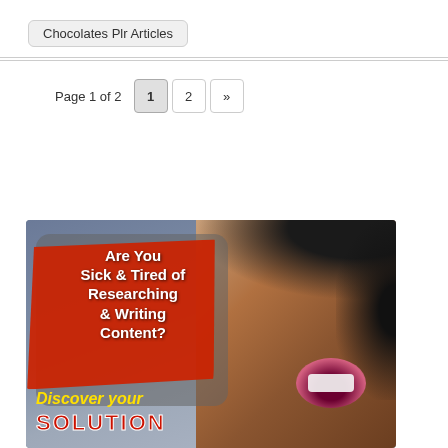Chocolates Plr Articles
Page 1 of 2  1  2  »
[Figure (illustration): Advertisement banner with a woman screaming on the right side. On the left, a gray rounded box overlaid with a red brush stroke containing white bold text: 'Are You Sick & Tired of Researching & Writing Content?' Below in yellow italic: 'Discover your' and in red bold: 'SOLUTION']